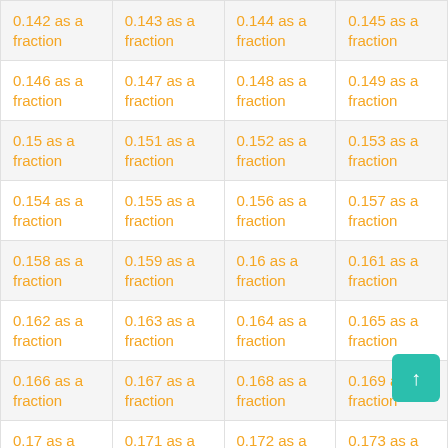| 0.142 as a fraction | 0.143 as a fraction | 0.144 as a fraction | 0.145 as a fraction |
| 0.146 as a fraction | 0.147 as a fraction | 0.148 as a fraction | 0.149 as a fraction |
| 0.15 as a fraction | 0.151 as a fraction | 0.152 as a fraction | 0.153 as a fraction |
| 0.154 as a fraction | 0.155 as a fraction | 0.156 as a fraction | 0.157 as a fraction |
| 0.158 as a fraction | 0.159 as a fraction | 0.16 as a fraction | 0.161 as a fraction |
| 0.162 as a fraction | 0.163 as a fraction | 0.164 as a fraction | 0.165 as a fraction |
| 0.166 as a fraction | 0.167 as a fraction | 0.168 as a fraction | 0.169 as a fraction |
| 0.17 as a fraction | 0.171 as a fraction | 0.172 as a fraction | 0.173 as a fraction |
| 0.174 as a fraction | 0.175 as a fraction | 0.176 as a fraction | 0.177 as a fraction |